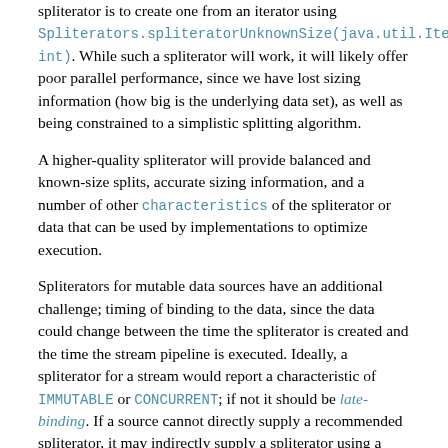spliterator is to create one from an iterator using Spliterators.spliteratorUnknownSize(java.util.Iterator, int). While such a spliterator will work, it will likely offer poor parallel performance, since we have lost sizing information (how big is the underlying data set), as well as being constrained to a simplistic splitting algorithm.
A higher-quality spliterator will provide balanced and known-size splits, accurate sizing information, and a number of other characteristics of the spliterator or data that can be used by implementations to optimize execution.
Spliterators for mutable data sources have an additional challenge; timing of binding to the data, since the data could change between the time the spliterator is created and the time the stream pipeline is executed. Ideally, a spliterator for a stream would report a characteristic of IMMUTABLE or CONCURRENT; if not it should be late-binding. If a source cannot directly supply a recommended spliterator, it may indirectly supply a spliterator using a Supplier, and construct a stream via the Supplier-accepting versions of stream(). The spliterator is obtained from the supplier only after the terminal operation of the stream pipeline commences.
These requirements significantly reduce the scope of potential interference, and the representation of the stream...